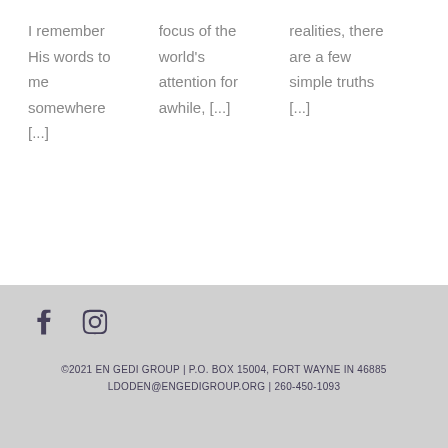I remember His words to me somewhere [...]
focus of the world's attention for awhile, [...]
realities, there are a few simple truths [...]
©2021 EN GEDI GROUP | P.O. BOX 15004, FORT WAYNE IN 46885 LDODEN@ENGEDIGROUP.ORG | 260-450-1093